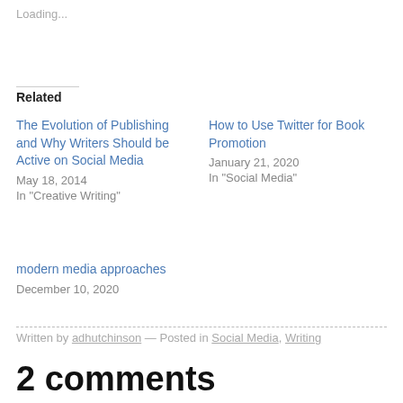Loading...
Related
The Evolution of Publishing and Why Writers Should be Active on Social Media
May 18, 2014
In "Creative Writing"
How to Use Twitter for Book Promotion
January 21, 2020
In "Social Media"
modern media approaches
December 10, 2020
Written by adhutchinson — Posted in Social Media, Writing
2 comments